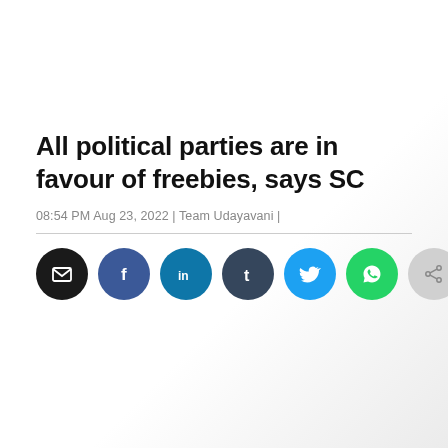All political parties are in favour of freebies, says SC
08:54 PM Aug 23, 2022 | Team Udayavani |
[Figure (infographic): Row of social share icon buttons: email (black), Facebook (blue), LinkedIn (dark blue), Tumblr (dark slate), Twitter (light blue), WhatsApp (green), and one grey share icon.]